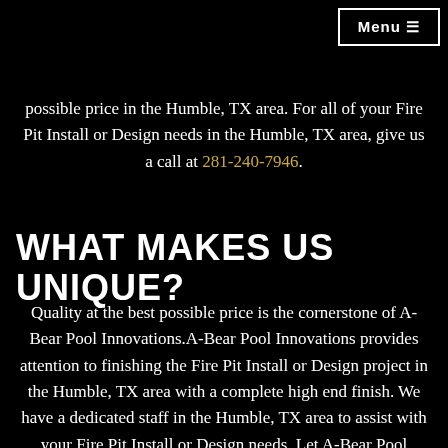Menu ☰
possible price in the Humble, TX area. For all of your Fire Pit Install or Design needs in the Humble, TX area, give us a call at 281-240-7946.
WHAT MAKES US UNIQUE?
Quality at the best possible price is the cornerstone of A-Bear Pool Innovations.A-Bear Pool Innovations provides attention to finishing the Fire Pit Install or Design project in the Humble, TX area with a complete high end finish. We have a dedicated staff in the Humble, TX area to assist with your Fire Pit Install or Design needs. Let A-Bear Pool Innovations direct, organize, plan and manage your Fire Pit Install or Design project in the Humble, TX area. Call us today